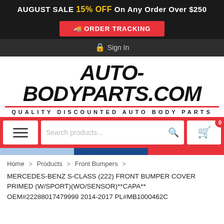AUGUST SALE 15% OFF On Any Order Over $250
ORDER TRACKING
Sign In
AUTO-BODYPARTS.COM
QUALITY DISCOUNTED AUTO BODY PARTS
Search products...
Home > Products > Front Bumpers >
MERCEDES-BENZ S-CLASS (222) FRONT BUMPER COVER PRIMED (W/SPORT)(WO/SENSOR)**CAPA** OEM#22288017479999 2014-2017 PL#MB1000462C